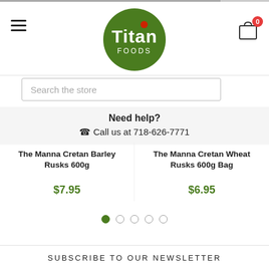[Figure (logo): Titan Foods logo — green circle with white 'Titan' text and 'FOODS' below, red dot above the i]
Search the store
Need help?
☎ Call us at 718-626-7771
The Manna Cretan Barley Rusks 600g
$7.95
The Manna Cretan Wheat Rusks 600g Bag
$6.95
SUBSCRIBE TO OUR NEWSLETTER